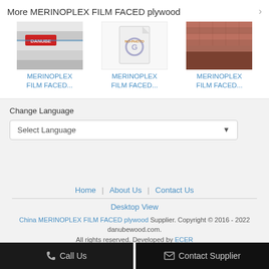More MERINOPLEX FILM FACED plywood
[Figure (photo): Product thumbnail of MERINOPLEX FILM FACED plywood - stacked sheets with Danube branding]
MERINOPLEX FILM FACED...
[Figure (photo): No photo placeholder image]
MERINOPLEX FILM FACED...
[Figure (photo): Product thumbnail of MERINOPLEX FILM FACED plywood - brown film faced sheet]
MERINOPLEX FILM FACED...
Change Language
Select Language
Home | About Us | Contact Us
Desktop View
China MERINOPLEX FILM FACED plywood Supplier. Copyright © 2016 - 2022 danubewood.com. All rights reserved. Developed by ECER
Call Us
Contact Supplier